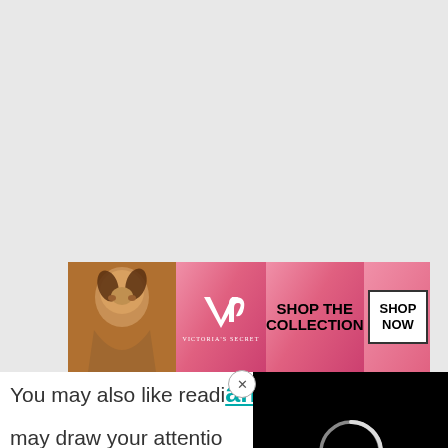[Figure (photo): Victoria's Secret advertisement banner with a woman, VS logo, 'SHOP THE COLLECTION' text, and SHOP NOW button]
You may also like reading SWOT analysis of Toyota. Or, the following articles may draw your attention:
Competitors of Uber (... SWOT analysis of Uber)
SWOT analysis of Volkswagen
[Figure (screenshot): Black video player overlay with loading spinner circle and close X button]
[Figure (photo): Bottom advertisement banner - Ulta Beauty ad with makeup images and SHOP NOW button]
[Figure (logo): Facebook logo icon at bottom left]